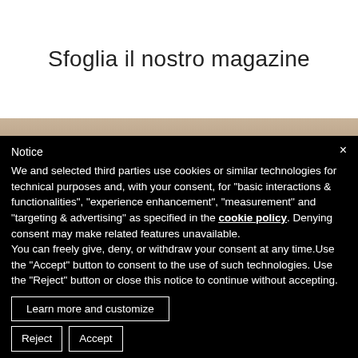Sfoglia il nostro magazine
[Figure (photo): Magazine cover image with warm brown tones]
Notice
We and selected third parties use cookies or similar technologies for technical purposes and, with your consent, for “basic interactions & functionalities”, “experience enhancement”, “measurement” and “targeting & advertising” as specified in the cookie policy. Denying consent may make related features unavailable.
You can freely give, deny, or withdraw your consent at any time.Use the “Accept” button to consent to the use of such technologies. Use the “Reject” button or close this notice to continue without accepting.
Learn more and customize
Reject
Accept